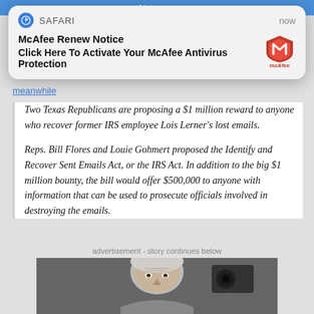[Figure (screenshot): Blue bar at top of webpage showing 'Not sure' text]
[Figure (screenshot): Safari push notification popup: 'McAfee Renew Notice - Click Here To Activate Your McAfee Antivirus Protection' with McAfee logo, showing 'now' timestamp]
meanwhile
Two Texas Republicans are proposing a $1 million reward to anyone who recover former IRS employee Lois Lerner's lost emails.
Reps. Bill Flores and Louie Gohmert proposed the Identify and Recover Sent Emails Act, or the IRS Act. In addition to the big $1 million bounty, the bill would offer $500,000 to anyone with information that can be used to prosecute officials involved in destroying the emails.
advertisement - story continues below
[Figure (photo): Photograph of an elderly man with white/grey hair, partially visible, with camera equipment in background]